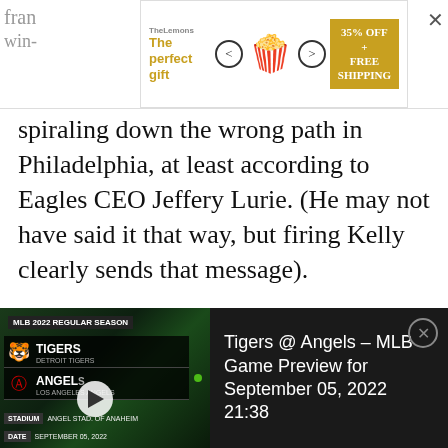[Figure (screenshot): Advertisement banner: 'The perfect gift' with popcorn bowl image, 35% OFF + FREE SHIPPING promo box]
spiraling down the wrong path in Philadelphia, at least according to Eagles CEO Jeffery Lurie. (He may not have said it that way, but firing Kelly clearly sends that message).
“But pretty much everybody’s on a one-year contract in this league,” Belichick added. “I don’t know how you build a program in one year.”
[Figure (screenshot): MLB 2022 Regular Season video widget: Tigers @ Angels - MLB Game Preview for September 05, 2022 21:38. Angel Stadium of Anaheim.]